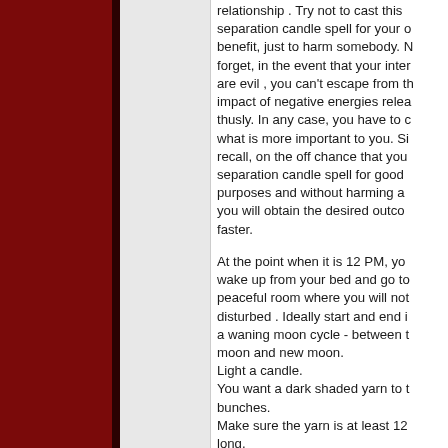relationship . Try not to cast this separation candle spell for your own benefit, just to harm somebody. Never forget, in the event that your intentions are evil , you can't escape from the impact of negative energies released thusly. In any case, you have to choose what is more important to you. Simply recall, on the off chance that you cast separation candle spell for good purposes and without harming anyone, you will obtain the desired outcome faster.

At the point when it is 12 PM, you will wake up from your bed and go to a peaceful room where you will not be disturbed . Ideally start and end it with a waning moon cycle - between the full moon and new moon.
Light a candle.
You want a dark shaded yarn to tie the bunches.
Make sure the yarn is at least 12 inches long.
Then, tie nine separate bunches a bit apart.
Each and every time you tie this knot, make sure you do it with all the vengeance and anger that you have